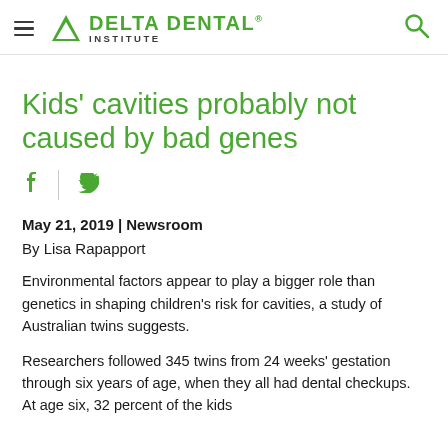Delta Dental Institute
Kids' cavities probably not caused by bad genes
May 21, 2019 | Newsroom
By Lisa Rapapport
Environmental factors appear to play a bigger role than genetics in shaping children's risk for cavities, a study of Australian twins suggests.
Researchers followed 345 twins from 24 weeks' gestation through six years of age, when they all had dental checkups. At age six, 32 percent of the kids